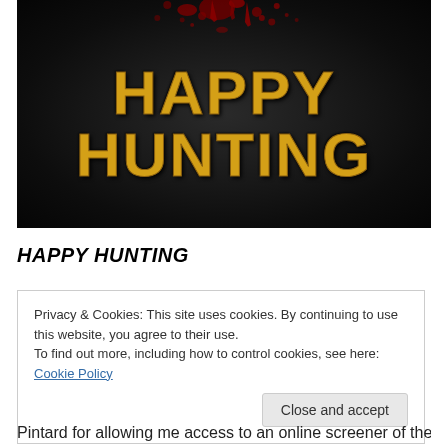[Figure (photo): Movie poster for 'Happy Hunting' with dark background, red blood splatter at top, and bold yellow distressed text reading 'HAPPY HUNTING']
HAPPY HUNTING
Privacy & Cookies: This site uses cookies. By continuing to use this website, you agree to their use.
To find out more, including how to control cookies, see here: Cookie Policy
Close and accept
Pintard for allowing me access to an online screener of the